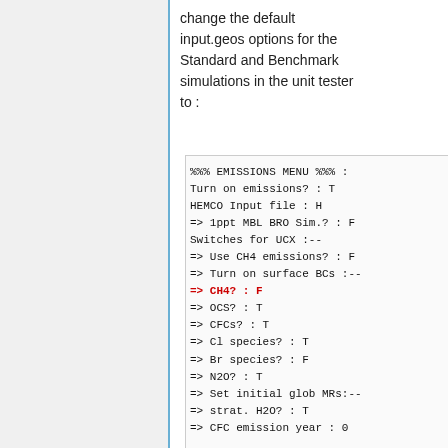change the default input.geos options for the Standard and Benchmark simulations in the unit tester to :
[Figure (screenshot): Code block showing EMISSIONS MENU configuration options from input.geos file, including emissions switches for UCX with CH4? highlighted in red.]